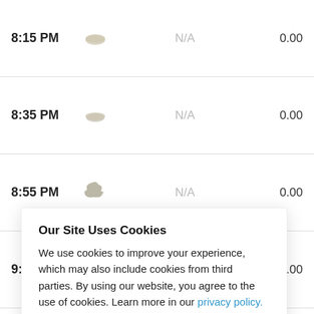| Time | Icon | Condition | Value |
| --- | --- | --- | --- |
| 8:15 PM |  | N/A | 0.00 |
| 8:35 PM |  | N/A | 0.00 |
| 8:55 PM |  | N/A | 0.00 |
| 9:15 PM |  | N/A | 0.00 |
|  |  |  | 0.00 |
|  |  |  | 0.00 |
|  |  |  | 0.00 |
|  |  |  | 0.00 |
Our Site Uses Cookies
We use cookies to improve your experience, which may also include cookies from third parties. By using our website, you agree to the use of cookies. Learn more in our privacy policy.
ACCEPT & CLOSE